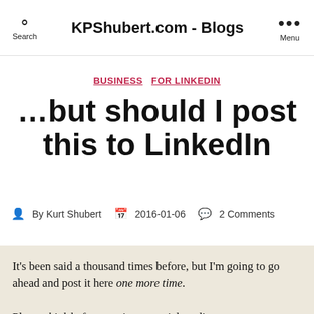KPShubert.com - Blogs
BUSINESS  FOR LINKEDIN
...but should I post this to LinkedIn
By Kurt Shubert  2016-01-06  2 Comments
It's been said a thousand times before, but I'm going to go ahead and post it here one more time.

Please think before posting to social media